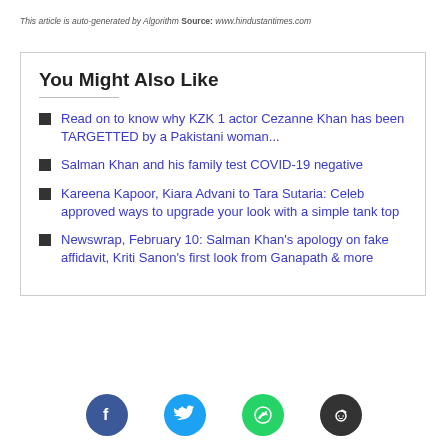This article is auto-generated by Algorithm Source: www.hindustantimes.com
You Might Also Like
Read on to know why KZK 1 actor Cezanne Khan has been TARGETTED by a Pakistani woman...
Salman Khan and his family test COVID-19 negative
Kareena Kapoor, Kiara Advani to Tara Sutaria: Celeb approved ways to upgrade your look with a simple tank top
Newswrap, February 10: Salman Khan's apology on fake affidavit, Kriti Sanon's first look from Ganapath & more